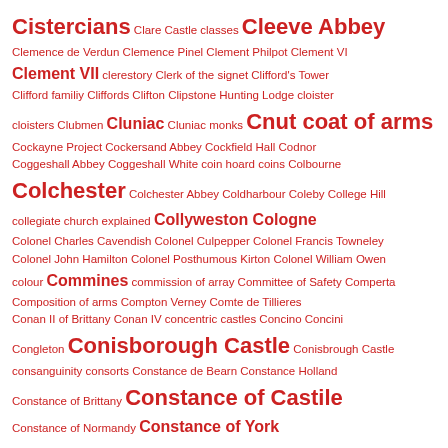Cistercians Clare Castle classes Cleeve Abbey Clemence de Verdun Clemence Pinel Clement Philpot Clement VI Clement VII clerestory Clerk of the signet Clifford's Tower Clifford familiy Cliffords Clifton Clipstone Hunting Lodge cloister cloisters Clubmen Cluniac Cluniac monks Cnut coat of arms Cockayne Project Cockersand Abbey Cockfield Hall Codnor Coggeshall Abbey Coggeshall White coin hoard coins Colbourne Colchester Colchester Abbey Coldharbour Coleby College Hill collegiate church explained Collyweston Cologne Colonel Charles Cavendish Colonel Culpepper Colonel Francis Towneley Colonel John Hamilton Colonel Posthumous Kirton Colonel William Owen colour Commines commission of array Committee of Safety Comperta Composition of arms Compton Verney Comte de Tillieres Conan II of Brittany Conan IV concentric castles Concino Concini Congleton Conisborough Castle Conisbrough Castle consanguinity consorts Constance de Bearn Constance Holland Constance of Brittany Constance of Castile Constance of Normandy Constance of York